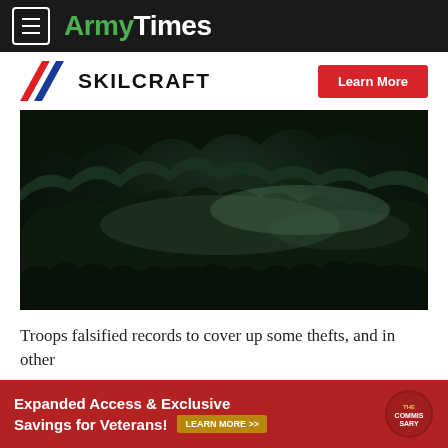ArmyTimes
[Figure (logo): Skilcraft logo with diagonal red/white/blue stripes and Learn More button]
[Figure (photo): Dark moody jungle/forest scene with mist and fog, dark green tones, trees silhouetted against stormy sky]
Troops falsified records to cover up some thefts, and in other
[Figure (infographic): Red advertisement banner: Expanded Access & Exclusive Savings for Veterans! LEARN MORE >> with Commissary logo]